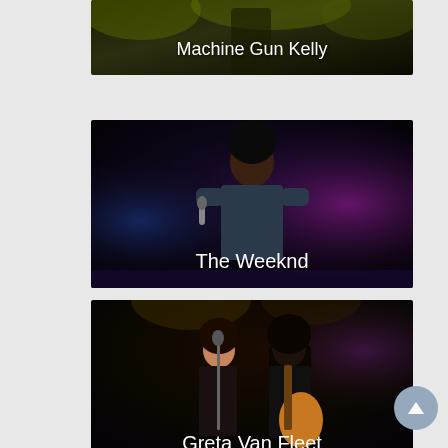[Figure (photo): Machine Gun Kelly performing on stage - partially cropped at top of screen]
[Figure (photo): The Weeknd performing on stage with microphone, dramatic purple and blue stage lighting, text overlay 'The Weeknd']
[Figure (photo): Greta Van Fleet band members performing on stage with guitar, text overlay 'Greta Van Fleet']
[Figure (photo): Artist in white cowboy hat performing on stage with arms spread wide, partially cropped at bottom of screen]